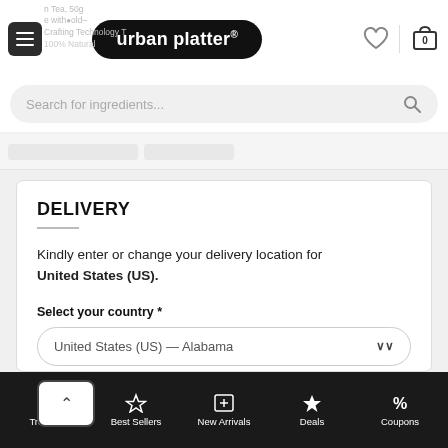urban platter® — navigation header with menu, logo, heart, and cart icons
Search for ingredients...
DELIVERY
Kindly enter or change your delivery location for United States (US).
Select your country *
United States (US) — Alabama
SAVE
Trending | Best Sellers | New Arrivals | Deals | Coupons